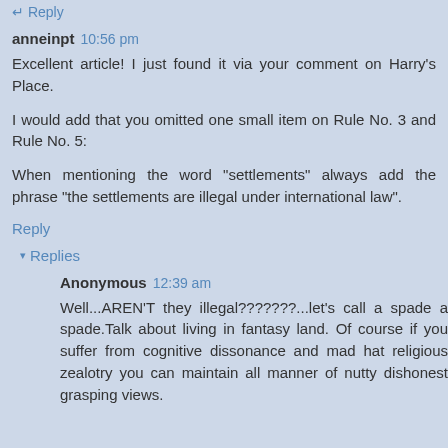Reply
anneinpt  10:56 pm
Excellent article! I just found it via your comment on Harry's Place.
I would add that you omitted one small item on Rule No. 3 and Rule No. 5:
When mentioning the word "settlements" always add the phrase "the settlements are illegal under international law".
Reply
▾ Replies
Anonymous  12:39 am
Well...AREN'T they illegal???????...let's call a spade a spade.Talk about living in fantasy land. Of course if you suffer from cognitive dissonance and mad hat religious zealotry you can maintain all manner of nutty dishonest grasping views.